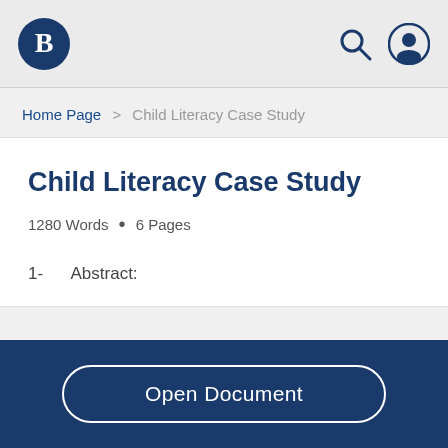Bartleby logo | search icon | user icon
Home Page > Child Literacy Case Study
Child Literacy Case Study
1280 Words  •  6 Pages
1-    Abstract:
Open Document